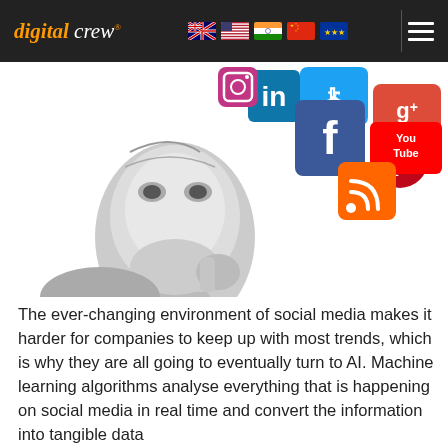digital crew. [navigation flags: AU, US, IN, CN, EU] [hamburger menu]
[Figure (illustration): A humanoid robot in a contemplative pose (hand to chin) looking up at colorful social media icons including LinkedIn, Twitter, Facebook, Google+, Pinterest, YouTube, and RSS feed icons.]
The ever-changing environment of social media makes it harder for companies to keep up with most trends, which is why they are all going to eventually turn to AI. Machine learning algorithms analyse everything that is happening on social media in real time and convert the information into tangible data